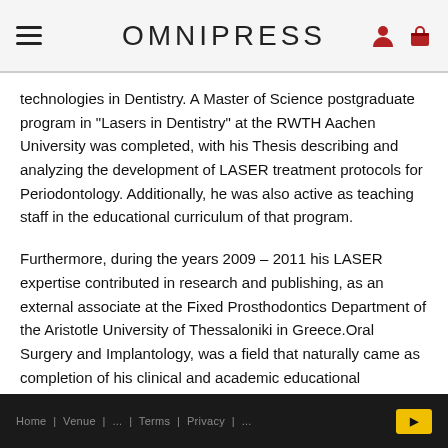OMNIPRESS
technologies in Dentistry. A Master of Science postgraduate program in "Lasers in Dentistry" at the RWTH Aachen University was completed, with his Thesis describing and analyzing the development of LASER treatment protocols for Periodontology. Additionally, he was also active as teaching staff in the educational curriculum of that program.
Furthermore, during the years 2009 – 2011 his LASER expertise contributed in research and publishing, as an external associate at the Fixed Prosthodontics Department of the Aristotle University of Thessaloniki in Greece.Oral Surgery and Implantology, was a field that naturally came as completion of his clinical and academic educational